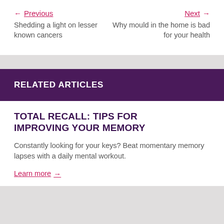← Previous  Shedding a light on lesser known cancers   Next →  Why mould in the home is bad for your health
RELATED ARTICLES
TOTAL RECALL: TIPS FOR IMPROVING YOUR MEMORY
Constantly looking for your keys? Beat momentary memory lapses with a daily mental workout.
Learn more →